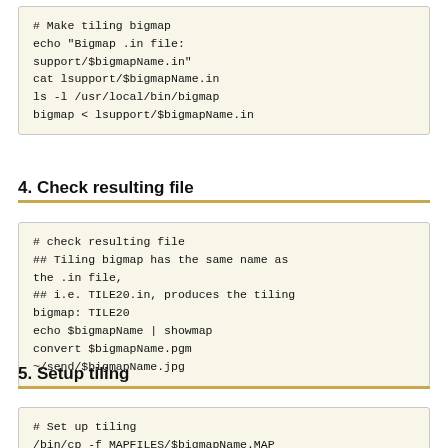# Make tiling bigmap
echo "Bigmap .in file: support/$bigmapName.in"
cat lsupport/$bigmapName.in
ls -l /usr/local/bin/bigmap
bigmap < lsupport/$bigmapName.in
4. Check resulting file
# check resulting file
## Tiling bigmap has the same name as the .in file,
## i.e. TILE20.in, produces the tiling bigmap: TILE20
echo $bigmapName | showmap
convert $bigmapName.pgm ~/send/$bigmapName.jpg
5. Setup tiling
# Set up tiling
/bin/cp -f MAPFILES/$bigmapName.MAP